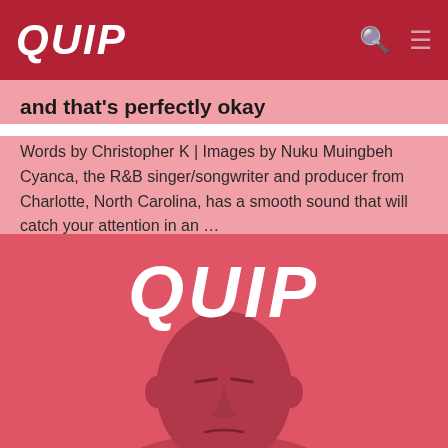QUIP
and that’s perfectly okay
Words by Christopher K | Images by Nuku Muingbeh Cyanca, the R&B singer/songwriter and producer from Charlotte, North Carolina, has a smooth sound that will catch your attention in an …
[Figure (photo): Red-tinted photo of a man with eyes closed against a coral-red background, with the QUIP logo overlaid in white bold italic text.]